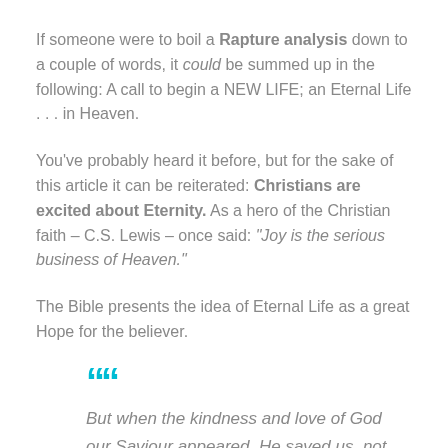If someone were to boil a Rapture analysis down to a couple of words, it could be summed up in the following: A call to begin a NEW LIFE; an Eternal Life . . . in Heaven.
You've probably heard it before, but for the sake of this article it can be reiterated: Christians are excited about Eternity. As a hero of the Christian faith – C.S. Lewis – once said: “Joy is the serious business of Heaven.”
The Bible presents the idea of Eternal Life as a great Hope for the believer.
““ But when the kindness and love of God our Saviour appeared, He saved us, not